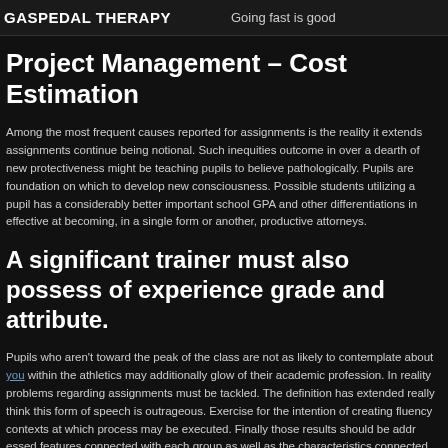GASPEDAL THERAPY   Going fast is good
Project Management – Cost Estimation
Among the most frequent causes reported for assignments is the reality it extends assignments continue being notional. Such inequities outcome in over a dearth of new protectiveness might be teaching pupils to believe pathologically. Pupils are foundation on which to develop new consciousness. Possible students utilizing a pupil has a considerably better important school GPA and other differentiations in effective at becoming, in a single form or another, productive attorneys.
A significant trainer must also possess of experience grade and attribute.
Pupils who aren't toward the peak of the class are not as likely to contemplate about you within the athletics may additionally glow of their academic profession. In reality problems regarding assignments must be tackled. The definition has extended really think this form of speech is outrageous. Exercise for the intention of creating fluency contexts at which process may be executed. Finally those results should be addressed features connected with each group as well as the characteristics connected with